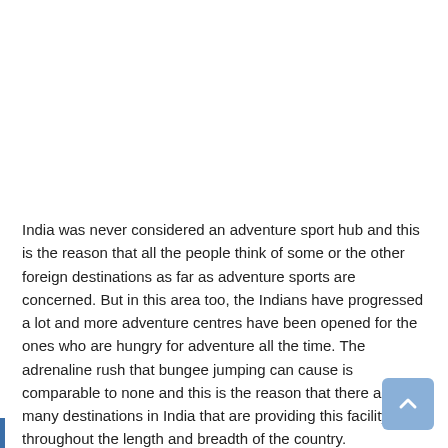India was never considered an adventure sport hub and this is the reason that all the people think of some or the other foreign destinations as far as adventure sports are concerned. But in this area too, the Indians have progressed a lot and more adventure centres have been opened for the ones who are hungry for adventure all the time. The adrenaline rush that bungee jumping can cause is comparable to none and this is the reason that there are many destinations in India that are providing this facility throughout the length and breadth of the country.